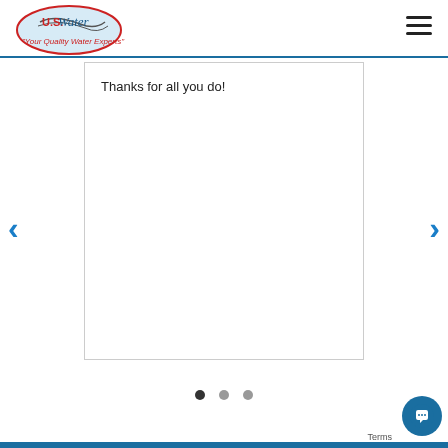[Figure (logo): U.S. Water logo with oval shape, water drop graphic, and tagline 'Your Quality Water Experts']
[Figure (other): Hamburger menu icon (three horizontal lines) in top right]
Thanks for all you do!
[Figure (other): Left navigation arrow (chevron) in blue]
[Figure (other): Right navigation arrow (chevron) in blue]
[Figure (other): Carousel dot indicators: three dots, first one filled/active, other two outlined/grey]
[Figure (other): Chat button widget in bottom right corner, dark blue circular button with chat icon]